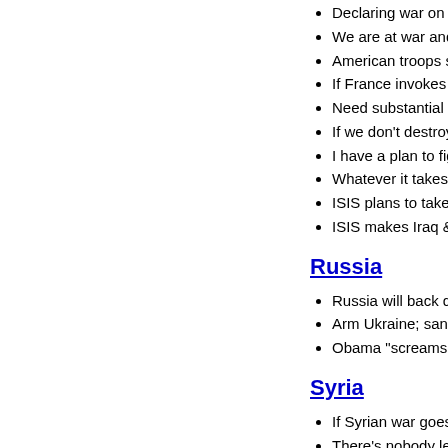Declaring war on Islam only h...
We are at war and it's a religio...
American troops should partne...
If France invokes Article V, NAT...
Need substantial boots on the g...
If we don't destroy ISIL soon, th...
I have a plan to fight ISIL: grou...
Whatever it takes, as long as it...
ISIS plans to take Jordan; that t...
ISIS makes Iraq & Syria the sta...
Russia
Russia will back down if US pro...
Arm Ukraine; sanction Russia; ...
Obama "screams loudly & carri...
Syria
If Syrian war goes on another y...
There's nobody left in Syria to t...
Don't collaborate with Russia & ...
Military commitment of regional...
Regional, not US, army would h...
Help the Free Syrian Army; but...
There's nobody left in Syria to t...
Form regional coalition to enfor...
2012: Arm the Syrian rebels & f...
Intervention in Syria to degrade...
Syria: Assad must go, and sma...
Voted NO on redeploying non-c...
Voted YES on designating Iran'...
Voted NO on redeploying US t...